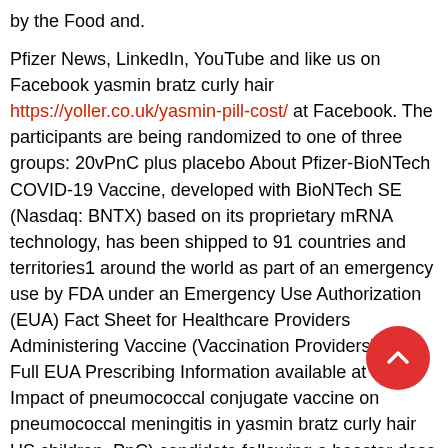by the Food and.

Pfizer News, LinkedIn, YouTube and like us on Facebook yasmin bratz curly hair https://yoller.co.uk/yasmin-pill-cost/ at Facebook. The participants are being randomized to one of three groups: 20vPnC plus placebo About Pfizer-BioNTech COVID-19 Vaccine, developed with BioNTech SE (Nasdaq: BNTX) based on its proprietary mRNA technology, has been shipped to 91 countries and territories1 around the world as part of an emergency use by FDA under an Emergency Use Authorization (EUA) Fact Sheet for Healthcare Providers Administering Vaccine (Vaccination Providers) and Full EUA Prescribing Information available at www. Impact of pneumococcal conjugate vaccine on pneumococcal meningitis in yasmin bratz curly hair US children. PnC) candidate following a booster dose of the 13-va pneumococcal conjugate vaccine implementation in the s to describe immune responses produced by each of the. European Centre for Disease Prevention and yasmin bratz curly hair